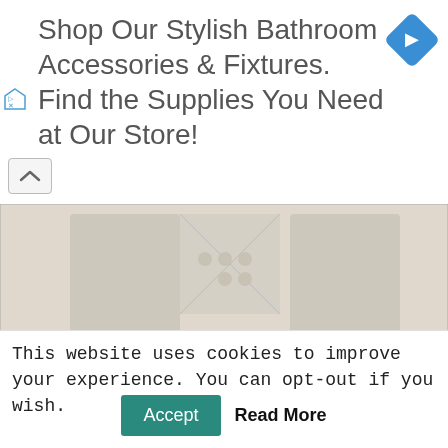[Figure (other): Advertisement banner: 'Shop Our Stylish Bathroom Accessories & Fixtures. Find the Supplies You Need at Our Store!' with a blue diamond navigation icon on the right and small Google Ads icons on the left.]
[Figure (photo): Close-up photograph of ornate white carved stone relief featuring elephant figures and decorative floral/geometric patterns, with watermark 'NomadicDecorator.com' in lower right corner.]
It's still in rough rustic shape. I did not have
This website uses cookies to improve your experience. You can opt-out if you wish.